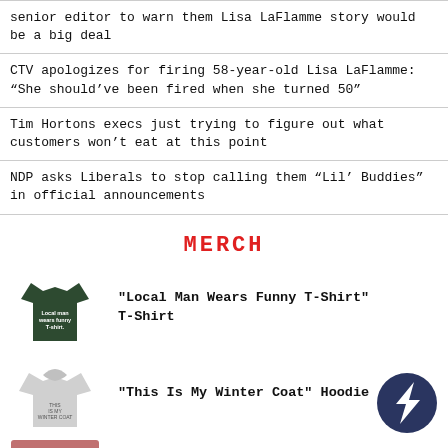senior editor to warn them Lisa LaFlamme story would be a big deal
CTV apologizes for firing 58-year-old Lisa LaFlamme: “She should’ve been fired when she turned 50”
Tim Hortons execs just trying to figure out what customers won’t eat at this point
NDP asks Liberals to stop calling them “Lil’ Buddies” in official announcements
MERCH
[Figure (photo): Dark green t-shirt with white text reading 'Local man wears funny T-shirt.']
"Local Man Wears Funny T-Shirt" T-Shirt
[Figure (photo): Light grey hoodie with small text reading 'This is my winter coat.']
"This Is My Winter Coat" Hoodie
[Figure (logo): Dark blue circular logo with stylized white lightning bolt / arrow design]
[Figure (photo): Red/pink folded fabric with partial text 'I THOUGHT']
"I Thought The Beaverton Was